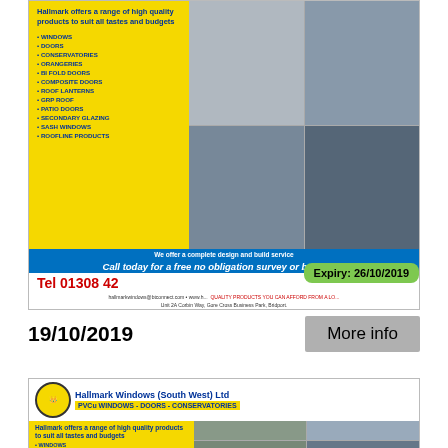[Figure (photo): Hallmark Windows advertisement showing product list on yellow background and photos of conservatories, windows, and roofline products. Includes blue banner with call to action, red telephone number, green expiry badge showing 26/10/2019, and footer with address and website.]
19/10/2019
More info
[Figure (photo): Second Hallmark Windows (South West) Ltd advertisement with crown logo, company name, PVCu WINDOWS - DOORS - CONSERVATORIES subtitle, yellow product list panel and photos of conservatory and windows.]